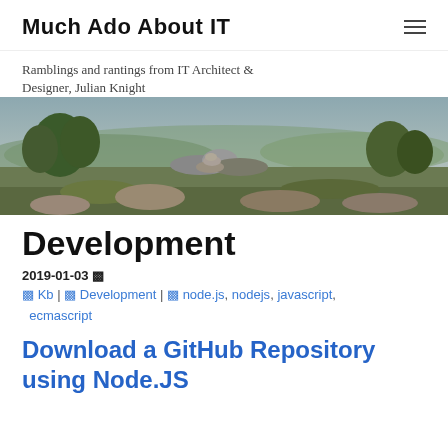Much Ado About IT
Ramblings and rantings from IT Architect & Designer, Julian Knight
[Figure (photo): Panoramic landscape photo showing rocky outcrops with trees against a cloudy sky, a sweeping valley view visible in the background.]
Development
2019-01-03
Kb | Development | node.js, nodejs, javascript, ecmascript
Download a GitHub Repository using Node.JS